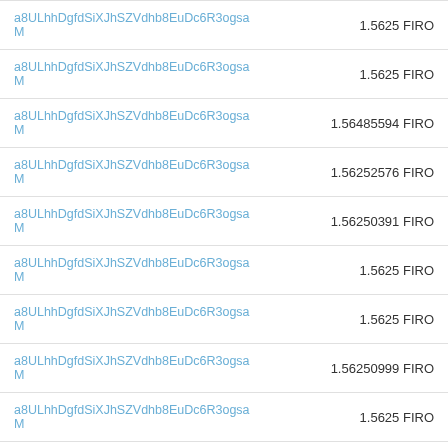| Address | Amount |
| --- | --- |
| a8ULhhDgfdSiXJhSZVdhb8EuDc6R3ogsaM | 1.5625 FIRO |
| a8ULhhDgfdSiXJhSZVdhb8EuDc6R3ogsaM | 1.5625 FIRO |
| a8ULhhDgfdSiXJhSZVdhb8EuDc6R3ogsaM | 1.56485594 FIRO |
| a8ULhhDgfdSiXJhSZVdhb8EuDc6R3ogsaM | 1.56252576 FIRO |
| a8ULhhDgfdSiXJhSZVdhb8EuDc6R3ogsaM | 1.56250391 FIRO |
| a8ULhhDgfdSiXJhSZVdhb8EuDc6R3ogsaM | 1.5625 FIRO |
| a8ULhhDgfdSiXJhSZVdhb8EuDc6R3ogsaM | 1.5625 FIRO |
| a8ULhhDgfdSiXJhSZVdhb8EuDc6R3ogsaM | 1.56250999 FIRO |
| a8ULhhDgfdSiXJhSZVdhb8EuDc6R3ogsaM | 1.5625 FIRO |
| a8ULhhDgfdSiXJhSZVdhb8EuDc6R3ogsaM | 1.56250294 FIRO |
| a8ULhhDgfdSiXJhSZVdhb8EuDc6R3ogsaM | 1.56951934 FIRO |
| a8ULhhDgfdSiXJhSZVdhb8EuDc6R3ogsaM | 1.5625 FIRO |
| a8ULhhDgfdSiXJhSZVdhb8EuDc6R3ogsaM | 1.5672415 FIRO |
| a8ULhhDgfdSiXJhSZVdhb8EuDc6R3ogsaM | 1.56794251 FIRO |
| a8ULhhDgfdSiXJhSZVdhb8EuDc6R3ogsaM | 1.56595164 FIRO |